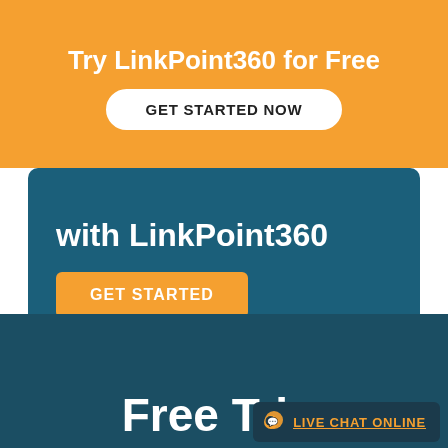Try LinkPoint360 for Free
GET STARTED NOW
with LinkPoint360
GET STARTED
Free Tri...
LIVE CHAT ONLINE